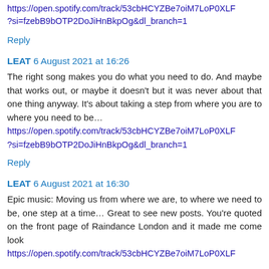https://open.spotify.com/track/53cbHCYZBe7oiM7LoP0XLF?si=fzebB9bOTP2DoJiHnBkpOg&dl_branch=1
Reply
LEAT 6 August 2021 at 16:26
The right song makes you do what you need to do. And maybe that works out, or maybe it doesn't but it was never about that one thing anyway. It's about taking a step from where you are to where you need to be… https://open.spotify.com/track/53cbHCYZBe7oiM7LoP0XLF?si=fzebB9bOTP2DoJiHnBkpOg&dl_branch=1
Reply
LEAT 6 August 2021 at 16:30
Epic music: Moving us from where we are, to where we need to be, one step at a time… Great to see new posts. You're quoted on the front page of Raindance London and it made me come look https://open.spotify.com/track/53cbHCYZBe7oiM7LoP0XLF